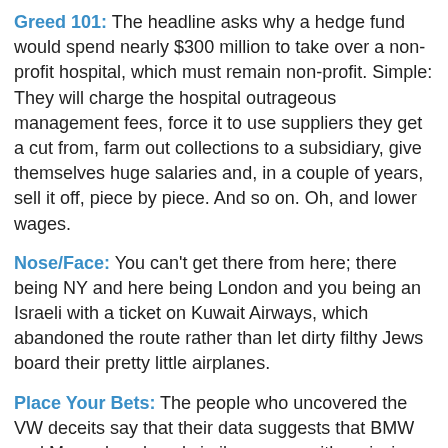Greed 101: The headline asks why a hedge fund would spend nearly $300 million to take over a non-profit hospital, which must remain non-profit. Simple: They will charge the hospital outrageous management fees, force it to use suppliers they get a cut from, farm out collections to a subsidiary, give themselves huge salaries and, in a couple of years, sell it off, piece by piece. And so on. Oh, and lower wages.
Nose/Face: You can't get there from here; there being NY and here being London and you being an Israeli with a ticket on Kuwait Airways, which abandoned the route rather than let dirty filthy Jews board their pretty little airplanes.
Place Your Bets: The people who uncovered the VW deceits say that their data suggests that BMW and Mercedes played similar games with emissions testing. The auto makers denied the allegations and said that if it turned out to be true it was the work of some very low level engineers they hired from you know who.
Freedom From The Press: The omnibus pork and porridge bill includes (along with lots of other gifts to various of the